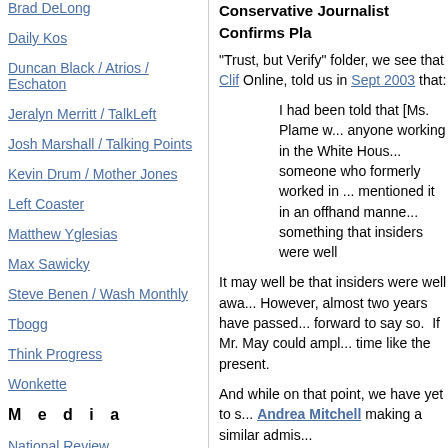Brad DeLong
Daily Kos
Duncan Black / Atrios / Eschaton
Jeralyn Merritt / TalkLeft
Josh Marshall / Talking Points
Kevin Drum / Mother Jones
Left Coaster
Matthew Yglesias
Max Sawicky
Steve Benen / Wash Monthly
Tbogg
Think Progress
Wonkette
M e d i a
National Review
Liberal Death Star
Washington Post
Conservative Journalist Confirms Pla... "Trust, but Verify" folder, we see that Clif... Online, told us in Sept 2003 that:
I had been told that [Ms. Plame w... anyone working in the White Hous... someone who formerly worked in ... mentioned it in an offhand manne... something that insiders were well...
It may well be that insiders were well awa... However, almost two years have passed... forward to say so. If Mr. May could ampl... time like the present.
And while on that point, we have yet to s... Andrea Mitchell making a similar admis...
[However, hiding in plain sight at the NB... July 15:
One of a number of intriguing que... in July 2003, how many reporters... Wilson's wife to administration offi... clearly some failed to realize how... disclosure of a covert officer's ide...